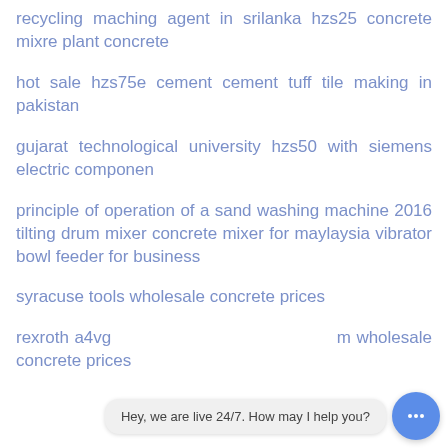recycling maching agent in srilanka hzs25 concrete mixre plant concrete
hot sale hzs75e cement cement tuff tile making in pakistan
gujarat technological university hzs50 with siemens electric componen
principle of operation of a sand washing machine 2016 tilting drum mixer concrete mixer for maylaysia vibrator bowl feeder for business
syracuse tools wholesale concrete prices
rexroth a4vg ... wholesale concrete prices